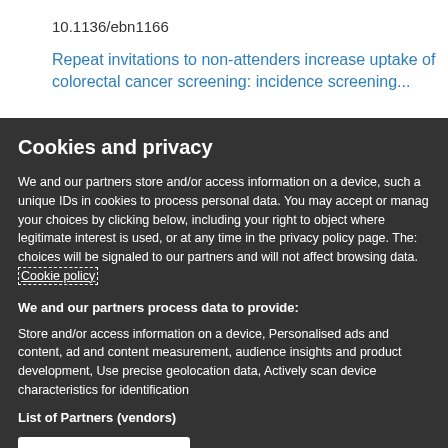10.1136/ebn1166
Repeat invitations to non-attenders increase uptake of colorectal cancer screening: incidence screening...
Cookies and privacy
We and our partners store and/or access information on a device, such a unique IDs in cookies to process personal data. You may accept or manage your choices by clicking below, including your right to object where legitimate interest is used, or at any time in the privacy policy page. These choices will be signaled to our partners and will not affect browsing data. Cookie policy
We and our partners process data to provide:
Store and/or access information on a device, Personalised ads and content, ad and content measurement, audience insights and product development, Use precise geolocation data, Actively scan device characteristics for identification
List of Partners (vendors)